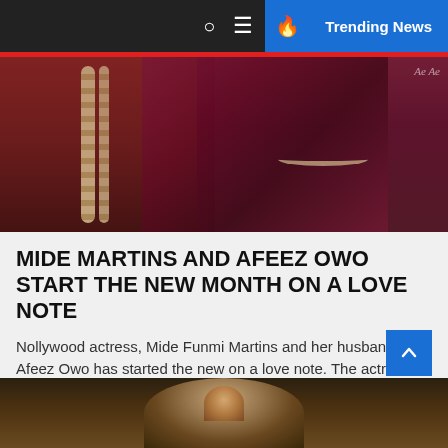Trending News
[Figure (photo): A couple in traditional Nigerian attire — a man in red agbada with beaded necklace on the left, a woman in dark navy/maroon lace dress with diamond necklace on the right, both smiling.]
MIDE MARTINS AND AFEEZ OWO START THE NEW MONTH ON A LOVE NOTE
Nollywood actress, Mide Funmi Martins and her husband Afeez Owo has started the new on a love note. The actress...
Author — September 1, 2022
[Figure (photo): Close-up of a woman's face, dark background, hair styled, partial view.]